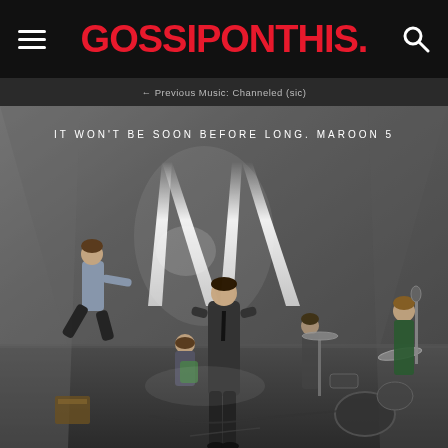GOSSIPONTHIS.
[Figure (photo): Maroon 5 'It Won't Be Soon Before Long' album cover photo. Five band members in a concrete room with a large glowing white M-shaped light installation. Adam Levine stands in the center in a dark suit. Other band members are positioned around him in various poses. A drum kit is visible on the right side.]